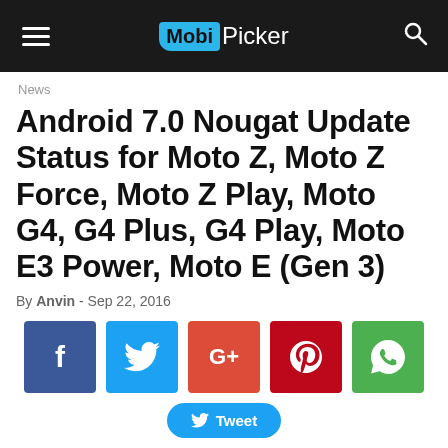MobiPicker
News
Android 7.0 Nougat Update Status for Moto Z, Moto Z Force, Moto Z Play, Moto G4, G4 Plus, G4 Play, Moto E3 Power, Moto E (Gen 3)
By Anvin - Sep 22, 2016
[Figure (infographic): Social share buttons: Facebook (blue), Twitter (light blue), Google+ (red-orange), Pinterest (dark red), WhatsApp (green), and a Tweet button]
Tweet